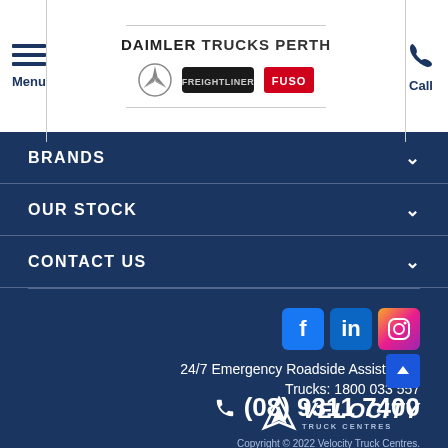Menu | DAIMLER TRUCKS PERTH | Call
BRANDS
OUR STOCK
CONTACT US
24/7 Emergency Roadside Assistance: Trucks: 1800 033 557
(08) 9311 7400
Copyright © 2022 Velocity Truck Centres. LMCT DL1571
[Figure (logo): Velocity Truck Centres logo]